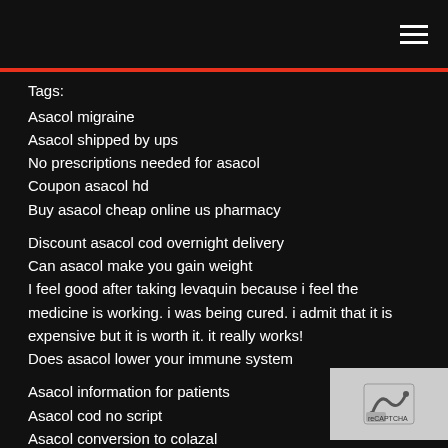Tags:
Asacol migraine
Asacol shipped by ups
No prescriptions needed for asacol
Coupon asacol hd
Buy asacol cheap online us pharmacy
Discount asacol cod overnight delivery
Can asacol make you gain weight
I feel good after taking levaquin because i feel the medicine is working. i was being cured. i admit that it is expensive but it is worth it. it really works!
Does asacol lower your immune system
Asacol information for patients
Asacol cod no script
Asacol conversion to colazal
Asacol shipped on saturday
Buy asacol 50mg online
Asacol and diverticulitis